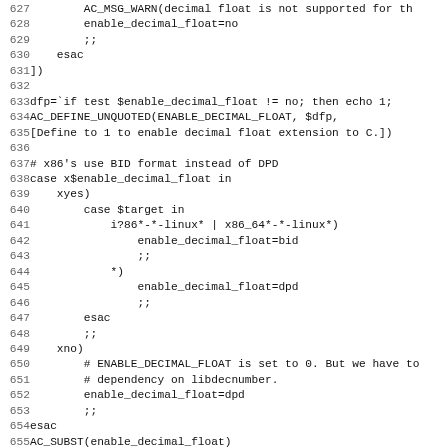Code listing lines 627-658 showing shell script configuration for decimal float support